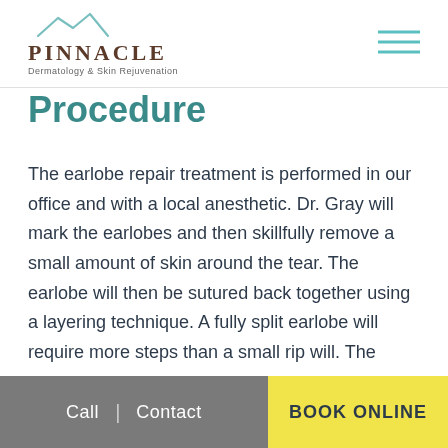[Figure (logo): Pinnacle Dermatology & Skin Rejuvenation logo with mountain peaks icon above text]
Procedure
The earlobe repair treatment is performed in our office and with a local anesthetic. Dr. Gray will mark the earlobes and then skillfully remove a small amount of skin around the tear. The earlobe will then be sutured back together using a layering technique. A fully split earlobe will require more steps than a small rip will. The treatment can take about
Call | Contact   BOOK ONLINE